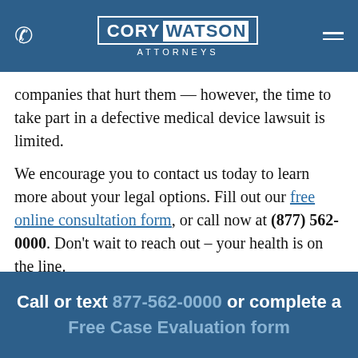Cory Watson Attorneys
companies that hurt them — however, the time to take part in a defective medical device lawsuit is limited.
We encourage you to contact us today to learn more about your legal options. Fill out our free online consultation form, or call now at (877) 562-0000. Don't wait to reach out – your health is on the line.
Call or text 877-562-0000 or complete a Free Case Evaluation form